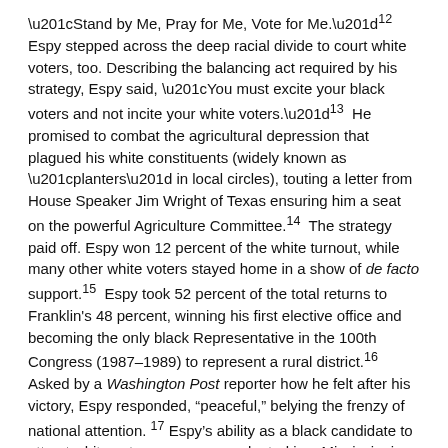“Stand by Me, Pray for Me, Vote for Me.”¹² Espy stepped across the deep racial divide to court white voters, too. Describing the balancing act required by his strategy, Espy said, “You must excite your black voters and not incite your white voters.”¹³ He promised to combat the agricultural depression that plagued his white constituents (widely known as “planters” in local circles), touting a letter from House Speaker Jim Wright of Texas ensuring him a seat on the powerful Agriculture Committee.¹⁴ The strategy paid off. Espy won 12 percent of the white turnout, while many other white voters stayed home in a show of de facto support.¹⁵ Espy took 52 percent of the total returns to Franklin's 48 percent, winning his first elective office and becoming the only black Representative in the 100th Congress (1987–1989) to represent a rural district.¹⁶ Asked by a Washington Post reporter how he felt after his victory, Espy responded, “peaceful,” belying the frenzy of national attention. ¹⁷ Espy’s ability as a black candidate to attract white voters was unprecedented in a Mississippi federal election.¹⁸ Espy’s election, declared a state newspaper, “did more than shatter the age–old color barrier.... It is further evidence that Mississippi is ready for a change.”¹⁹